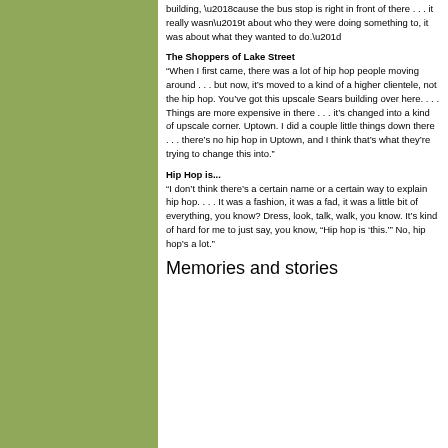building, ‘cause the bus stop is right in front of there . . . it really wasn’t about who they were doing something to, it was about what they wanted to do.”
The Shoppers of Lake Street
“When I first came, there was a lot of hip hop people moving around . . . but now, it’s moved to a kind of a higher clientele, not the hip hop. You’ve got this upscale Sears building over here. . . . Things are more expensive in there . . . it’s changed into a kind of upscale corner. Uptown. I did a couple little things down there . . . there’s no hip hop in Uptown, and I think that’s what they’re trying to change this into.”
Hip Hop is...
“I don’t think there’s a certain name or a certain way to explain hip hop. . . . It was a fashion, it was a fad, it was a little bit of everything, you know? Dress, look, talk, walk, you know. It’s kind of hard for me to just say, you know, “Hip hop is ‘this.’” No, hip hop’s a lot.”
Memories and stories